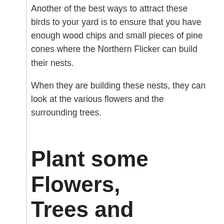Another of the best ways to attract these birds to your yard is to ensure that you have enough wood chips and small pieces of pine cones where the Northern Flicker can build their nests.
When they are building these nests, they can look at the various flowers and the surrounding trees.
Plant some Flowers, Trees and Shrubs
These are common flowers, trees and shrubs that attract Northern Flickers. The Mallow...
×